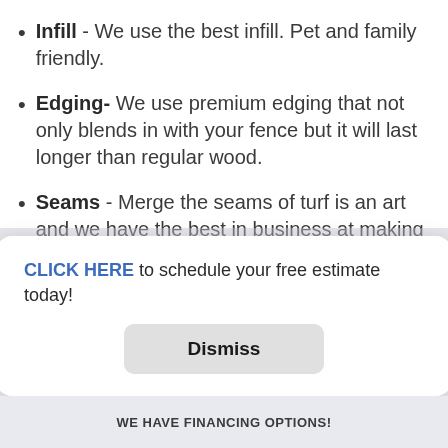Infill - We use the best infill. Pet and family friendly.
Edging- We use premium edging that not only blends in with your fence but it will last longer than regular wood.
Seams - Merge the seams of turf is an art and we have the best in business at making sure the finished product looks clean cut.
1 Year Labor Warranty – We want you to have peace of mind using us so we offer a 1 year
CLICK HERE to schedule your free estimate today!
Dismiss
WE HAVE FINANCING OPTIONS!